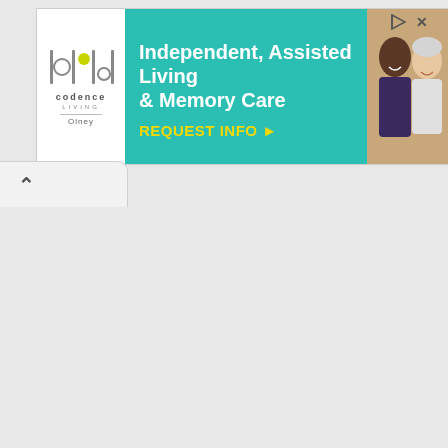[Figure (illustration): Advertisement banner for Codence Living Olney senior living community. Features the Codence Living logo on white background (left), teal background center with white bold text 'Independent, Assisted Living & Memory Care' and yellow bold text 'REQUEST INFO ▸', and a photo of smiling senior adults on the right. Small play and close (X) icons in top-right corner.]
[Figure (screenshot): Browser UI element: a small rounded tab/chip with a chevron-up (^) arrow symbol, positioned below the advertisement banner, indicating a collapsible panel.]